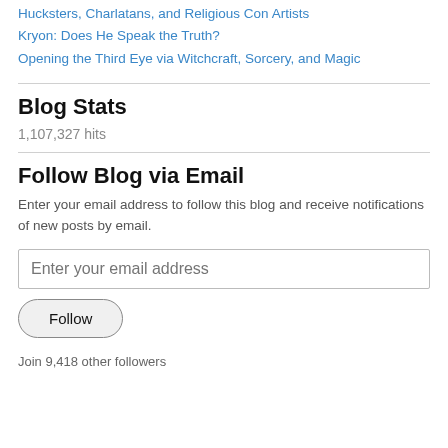Hucksters, Charlatans, and Religious Con Artists
Kryon: Does He Speak the Truth?
Opening the Third Eye via Witchcraft, Sorcery, and Magic
Blog Stats
1,107,327 hits
Follow Blog via Email
Enter your email address to follow this blog and receive notifications of new posts by email.
Enter your email address
Follow
Join 9,418 other followers